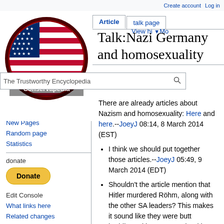Create account  Log in
[Figure (logo): Conservapedia logo — circular badge with American flag and text 'Conservapedia' and 'The Trustworthy Encyclopedia']
Article  talk page  View history  More
Talk:Nazi Germany and homosexuality
There are already articles about Nazism and homosexuality: Here and here.--JoeyJ 08:14, 8 March 2014 (EST)
I think we should put together those articles.--JoeyJ 05:49, 9 March 2014 (EDT)
Shouldn't the article mention that Hitler murdered Röhm, along with the other SA leaders? This makes it sound like they were butt buddies. Hitler was steady with Eva Braun. PeterKa 08:37, 8 March 2014 (EST)
Main Page
Recent changes
New Pages
Random page
Statistics
donate
Edit Console
What links here
Related changes
Special pages
Printable version
Permanent link